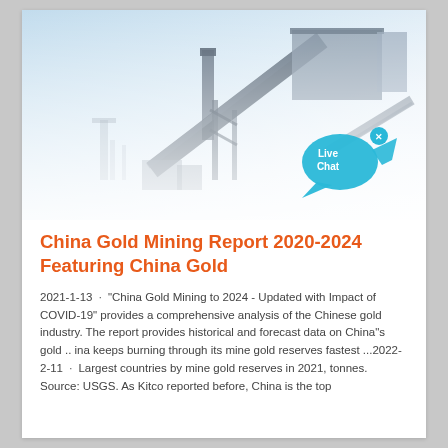[Figure (photo): Industrial mining facility with conveyor belts and large machinery structures against a pale blue-white hazy sky. A 'Live Chat' speech bubble icon appears in the lower right of the image.]
China Gold Mining Report 2020-2024 Featuring China Gold
2021-1-13 · "China Gold Mining to 2024 - Updated with Impact of COVID-19" provides a comprehensive analysis of the Chinese gold industry. The report provides historical and forecast data on China"s gold .. ina keeps burning through its mine gold reserves fastest ...2022-2-11 · Largest countries by mine gold reserves in 2021, tonnes. Source: USGS. As Kitco reported before, China is the top